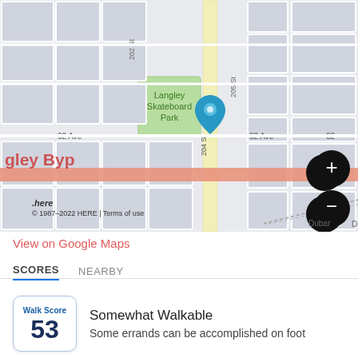[Figure (map): Street map showing area around 204 St and 62 Ave in Langley, BC. Shows Langley Skateboard Park (green), a blue location pin on 204 St near 62 Ave, a salmon/red road (Langley Bypass) running horizontally, zoom controls (+/-) and layer control on the right. Copyright 1987-2022 HERE, scale bar showing 200m.]
View on Google Maps
SCORES
NEARBY
Walk Score 53
Somewhat Walkable
Some errands can be accomplished on foot